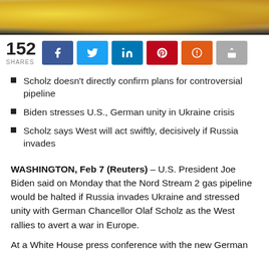[Figure (photo): Cropped photo showing yellow flowers and two people in background, likely at a formal meeting setting]
152 SHARES
Scholz doesn't directly confirm plans for controversial pipeline
Biden stresses U.S., German unity in Ukraine crisis
Scholz says West will act swiftly, decisively if Russia invades
WASHINGTON, Feb 7 (Reuters) – U.S. President Joe Biden said on Monday that the Nord Stream 2 gas pipeline would be halted if Russia invades Ukraine and stressed unity with German Chancellor Olaf Scholz as the West rallies to avert a war in Europe.
At a White House press conference with the new German